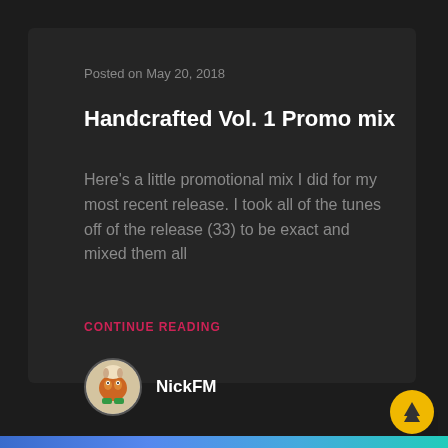Posted on May 20, 2018
Handcrafted Vol. 1 Promo mix
Here's a little promotional mix I did for my most recent release. I took all of the tunes off of the release (33) to be exact and mixed them all
CONTINUE READING
NickFM